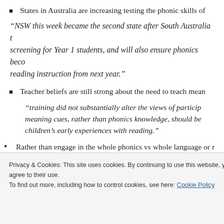States in Australia are increasing testing the phonic skills of
“NSW this week became the second state after South Australia t screening for Year 1 students, and will also ensure phonics beco reading instruction from next year.”
Teacher beliefs are still strong about the need to teach mean
“training did not substantially alter the views of particip meaning cues, rather than phonics knowledge, should be children’s early experiences with reading.”
Rather than engage in the whole phonics vs whole language or r
Privacy & Cookies: This site uses cookies. By continuing to use this website, you agree to their use.
To find out more, including how to control cookies, see here: Cookie Policy